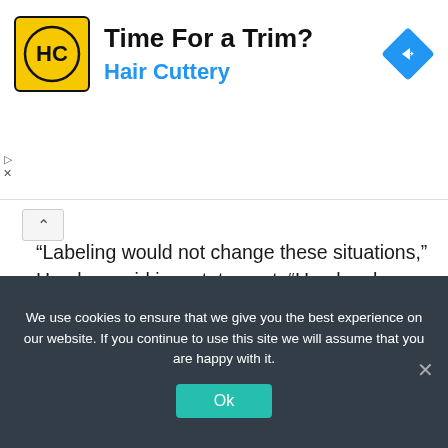[Figure (infographic): Hair Cuttery advertisement banner with logo (HC on yellow background), headline 'Time For a Trim?' and subtext 'Hair Cuttery', with a blue navigation diamond icon on the right.]
"Labeling would not change these situations," Hershey said in a statement. "Hershey has long encouraged pet owners to keep such foods well out of reach of inquisitive pets."
Mars, Inc, also responded, saying, "We are not currently engaged in this legislation but remain very committed to educating pet owners about common foods and products that are exclusively intended as
We use cookies to ensure that we give you the best experience on our website. If you continue to use this site we will assume that you are happy with it.